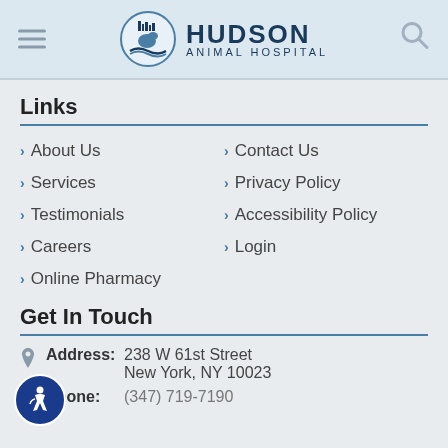[Figure (logo): Hudson Animal Hospital logo with circular icon showing a horse and wave, dark blue text reading HUDSON ANIMAL HOSPITAL]
Links
> About Us
> Contact Us
> Services
> Privacy Policy
> Testimonials
> Accessibility Policy
> Careers
> Login
> Online Pharmacy
Get In Touch
Address: 238 W 61st Street New York, NY 10023
Phone: (347) 719-7190